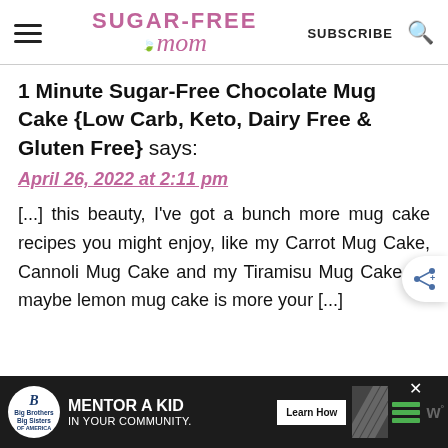Sugar-Free Mom — SUBSCRIBE
1 Minute Sugar-Free Chocolate Mug Cake {Low Carb, Keto, Dairy Free & Gluten Free} says:
April 26, 2022 at 2:11 pm
[...] this beauty, I've got a bunch more mug cake recipes you might enjoy, like my Carrot Mug Cake, Cannoli Mug Cake and my Tiramisu Mug Cake, or maybe lemon mug cake is more your [...]
[Figure (other): Advertisement banner: Big Brothers Big Sisters — MENTOR A KID IN YOUR COMMUNITY. Learn How button.]